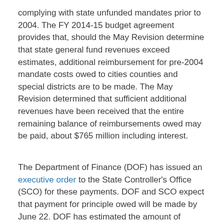complying with state unfunded mandates prior to 2004. The FY 2014-15 budget agreement provides that, should the May Revision determine that state general fund revenues exceed estimates, additional reimbursement for pre-2004 mandate costs owed to cities counties and special districts are to be made. The May Revision determined that sufficient additional revenues have been received that the entire remaining balance of reimbursements owed may be paid, about $765 million including interest.
The Department of Finance (DOF) has issued an executive order to the State Controller's Office (SCO) for these payments. DOF and SCO expect that payment for principle owed will be made by June 22. DOF has estimated the amount of interest owed for each agency as well but the SCO must verify these amounts prior to payment, expected by September 2015.